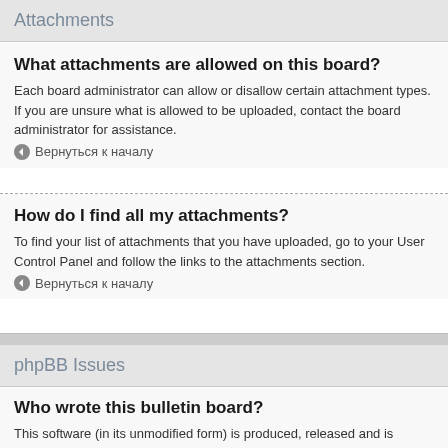Attachments
What attachments are allowed on this board?
Each board administrator can allow or disallow certain attachment types. If you are unsure what is allowed to be uploaded, contact the board administrator for assistance.
⬤ Вернуться к началу
How do I find all my attachments?
To find your list of attachments that you have uploaded, go to your User Control Panel and follow the links to the attachments section.
⬤ Вернуться к началу
phpBB Issues
Who wrote this bulletin board?
This software (in its unmodified form) is produced, released and is copyright phpBB Limited. It is made available under the GNU General